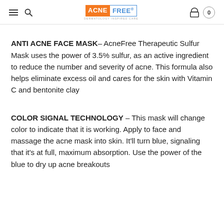ACNE FREE - DERMATOLOGY INSPIRED CARE
ANTI ACNE FACE MASK – AcneFree Therapeutic Sulfur Mask uses the power of 3.5% sulfur, as an active ingredient to reduce the number and severity of acne. This formula also helps eliminate excess oil and cares for the skin with Vitamin C and bentonite clay
COLOR SIGNAL TECHNOLOGY – This mask will change color to indicate that it is working. Apply to face and massage the acne mask into skin. It'll turn blue, signaling that it's at full, maximum absorption. Use the power of the blue to dry up acne breakouts